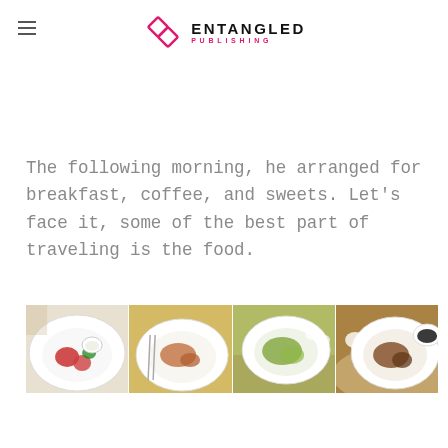ENTANGLED PUBLISHING
[Figure (photo): Top banner photo strip showing food/travel scene]
The following morning, he arranged for breakfast, coffee, and sweets. Let's face it, some of the best part of traveling is the food.
[Figure (photo): Four food photos side by side showing breakfast plates with fruit, pastries, salad, and other dishes on white plates]